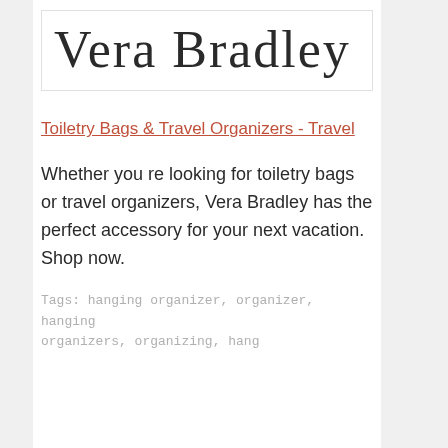[Figure (logo): Vera Bradley brand logo in large serif text]
Toiletry Bags & Travel Organizers - Travel
Whether you re looking for toiletry bags or travel organizers, Vera Bradley has the perfect accessory for your next vacation. Shop now.
Tags: hanging organizer, organizer, hanging organizers, organizing, hang